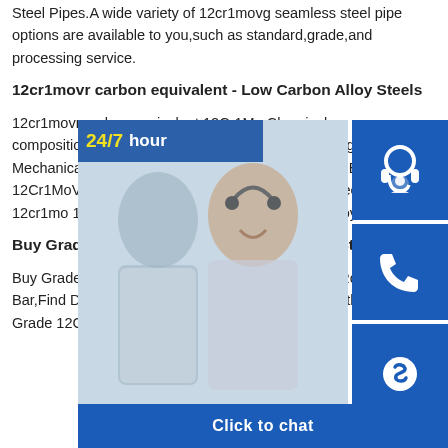Steel Pipes.A wide variety of 12cr1movg seamless steel pipe options are available to you,such as standard,grade,and processing service.
12cr1movr carbon equivalent - Low Carbon Alloy Steels
12cr1movr carbon equivalent,12Cr1Mo Chemical composition,Metal Properties the 12Cr1MoVG steel grades Mechanical Properties,Chemical Element,Cross R GBT 12Cr1MoVG Materials,Application steel and alloy steel,15crmog 12cr1mo 13mnnicrmon imagesSa387 Gr.11 Cl.2 Alloy Steel Plate
Buy Grade 12Cr1MoVG Alloy Steel / Tubular Steel Round
Buy Grade 12Cr1MoVG Alloy Steel / Tubular Steel Round Bar,Find Details include Size,Weight,Model and Width about Grade 12Cr1MoVG Alloy Steel / Tubular Steel
[Figure (photo): Customer service representative photo with 24/7 hour banner, headset icon button, phone icon button, Skype icon button, and Click to chat bar overlaid on right side of page]